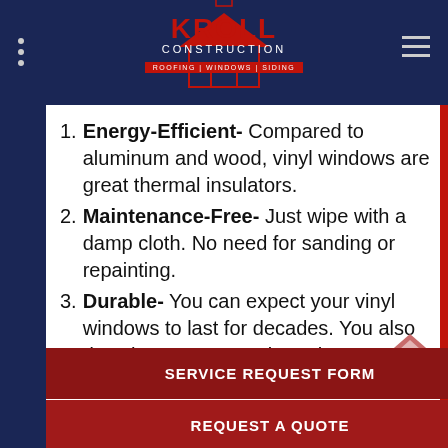[Figure (logo): Kroll Construction logo with house icon and tagline ROOFING | WINDOWS | SIDING on dark navy header]
Energy-Efficient- Compared to aluminum and wood, vinyl windows are great thermal insulators.
Maintenance-Free- Just wipe with a damp cloth. No need for sanding or repainting.
Durable- You can expect your vinyl windows to last for decades. You also don't have to worry about them corroding like other windows, or warping from moisture.
SERVICE REQUEST FORM
REQUEST A QUOTE